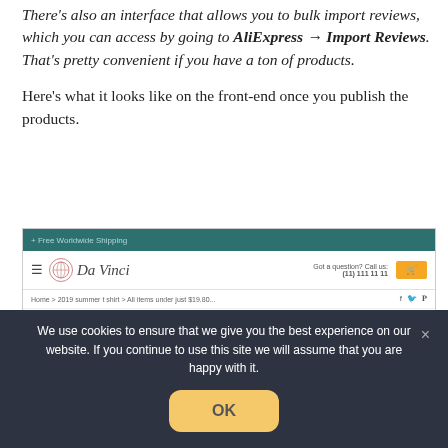There's also an interface that allows you to bulk import reviews, which you can access by going to AliExpress → Import Reviews. That's pretty convenient if you have a ton of products.
Here's what it looks like on the front-end once you publish the products.
[Figure (screenshot): A screenshot of a Da Vinci e-commerce store front-end, showing the store header with logo, phone number, and cart button, a breadcrumb bar, and a product listing for a 2019 summer t-shirt, with a cookie consent overlay showing: 'We use cookies to ensure that we give you the best experience on our website. If you continue to use this site we will assume that you are happy with it.' and an OK button.]